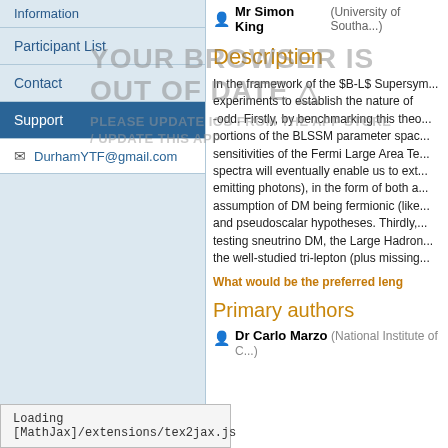Information
Participant List
Contact
Support
DurhamYTF@gmail.com
[Figure (screenshot): Browser out of date warning overlay: 'YOUR BROWSER IS OUT OF DATE ▲ PLEASE UPDATE IOS FROM THE APP STORE / UPDATE THIS APP']
Mr Simon King (University of Southa...)
Description
In the framework of the $B-L$ Supersymmetric experiments to establish the nature of ...odd. Firstly, by benchmarking this theory...portions of the BLSSM parameter space...sensitivities of the Fermi Large Area Te...spectra will eventually enable us to ext...emitting photons), in the form of both a...assumption of DM being fermionic (like...and pseudoscalar hypotheses. Thirdly,...testing sneutrino DM, the Large Hadron...the well-studied tri-lepton (plus missing...
What would be the preferred leng
Primary authors
Dr Carlo Marzo (National Institute of C...)
Loading [MathJax]/extensions/tex2jax.js